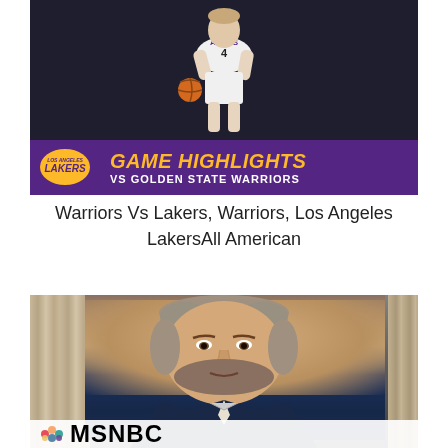[Figure (photo): Lakers game highlights thumbnail showing a basketball player wearing Lakers jersey number 4 in white, with a purple and gold banner reading 'GAME HIGHLIGHTS VS GOLDEN STATE WARRIORS' and the Lakers logo]
Warriors Vs Lakers, Warriors, Los Angeles LakersAll American
[Figure (screenshot): MSNBC news screenshot showing a middle-aged man with gray-brown beard and hair in a dark suit, speaking; MSNBC logo visible at the bottom with the peacock colorful logo]